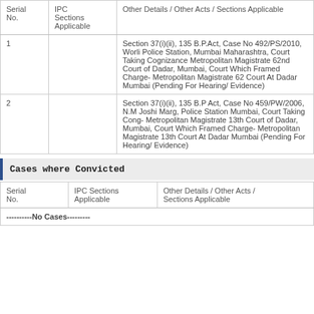| Serial No. | IPC Sections Applicable | Other Details / Other Acts / Sections Applicable |
| --- | --- | --- |
| 1 |  | Section 37(i)(ii), 135 B.P.Act, Case No 492/PS/2010, Worli Police Station, Mumbai Maharashtra, Court Taking Cognizance Metropolitan Magistrate 62nd Court of Dadar, Mumbai, Court Which Framed Charge- Metropolitan Magistrate 62 Court At Dadar Mumbai (Pending For Hearing/ Evidence) |
| 2 |  | Section 37(i)(ii), 135 B.P Act, Case No 459/PW/2006, N.M Joshi Marg, Police Station Mumbai, Court Taking Cong- Metropolitan Magistrate 13th Court of Dadar, Mumbai, Court Which Framed Charge- Metropolitan Magistrate 13th Court At Dadar Mumbai (Pending For Hearing/ Evidence) |
Cases where Convicted
| Serial No. | IPC Sections Applicable | Other Details / Other Acts / Sections Applicable |
| --- | --- | --- |
| ----------No Cases--------- |  |  |